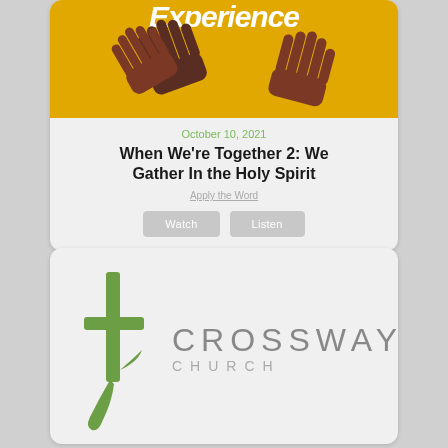[Figure (illustration): Card with yellow background showing raised hands illustration and partial title 'Experience' at top]
October 10, 2021
When We're Together 2: We Gather In the Holy Spirit
Apply the Word
Watch  Listen
[Figure (logo): Crossway Church logo with green cross/figure and text CROSSWAY CHURCH]